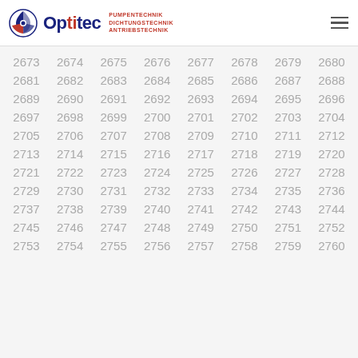Optitec PUMPENTECHNIK DICHTUNGSTECHNIK ANTRIEBSTECHNIK
2673 2674 2675 2676 2677 2678 2679 2680
2681 2682 2683 2684 2685 2686 2687 2688
2689 2690 2691 2692 2693 2694 2695 2696
2697 2698 2699 2700 2701 2702 2703 2704
2705 2706 2707 2708 2709 2710 2711 2712
2713 2714 2715 2716 2717 2718 2719 2720
2721 2722 2723 2724 2725 2726 2727 2728
2729 2730 2731 2732 2733 2734 2735 2736
2737 2738 2739 2740 2741 2742 2743 2744
2745 2746 2747 2748 2749 2750 2751 2752
2753 2754 2755 2756 2757 2758 2759 2760